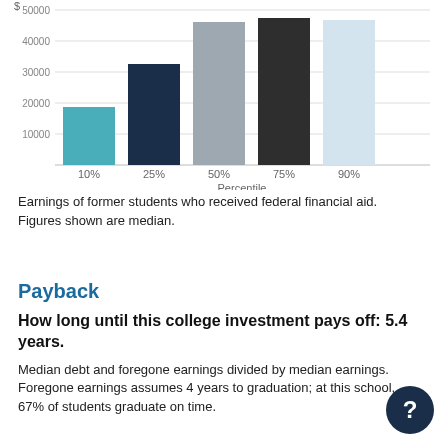[Figure (bar-chart): Earnings by Percentile]
Earnings of former students who received federal financial aid. Figures shown are median.
Payback
How long until this college investment pays off: 5.4 years.
Median debt and foregone earnings divided by median earnings. Foregone earnings assumes 4 years to graduation; at this school, 67% of students graduate on time.